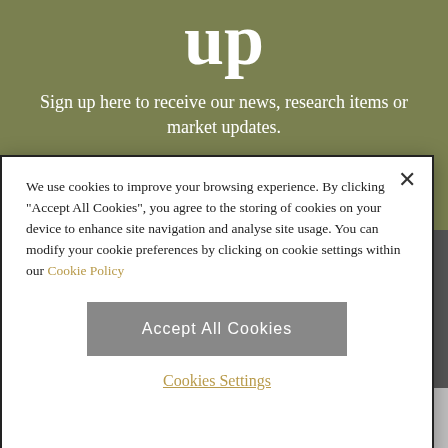up
Sign up here to receive our news, research items or market updates.
SIGN UP NOW
We use cookies to improve your browsing experience. By clicking "Accept All Cookies", you agree to the storing of cookies on your device to enhance site navigation and analyse site usage. You can modify your cookie preferences by clicking on cookie settings within our Cookie Policy
Accept All Cookies
Cookies Settings